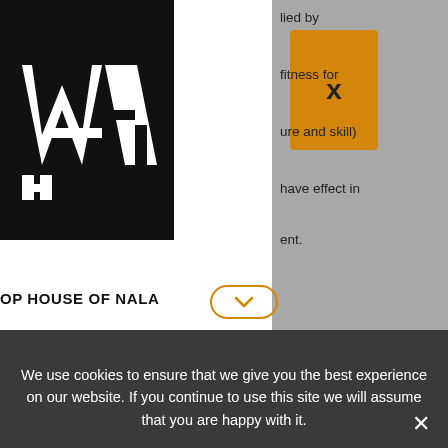[Figure (logo): House of Nala logo — white W/A/H letters on black square background]
[Figure (other): Orange card with bold X mark]
lied by
fitness for
ure and skill)
have effect in
ent.
OP HOUSE OF NALA
r Foreseeable
ENTS
f We fail to
ponsible for loss
eable result of
ng to use
N
We use cookies to ensure that we give you the best experience on our website. If you continue to use this site we will assume that you are happy with it.